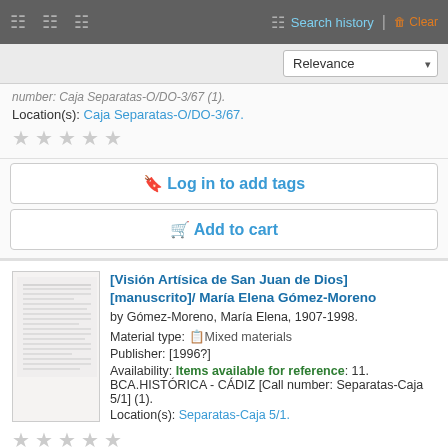Search history | Clear
number: Caja Separatas-O/DO-3/67 (1).
Location(s): Caja Separatas-O/DO-3/67.
Log in to add tags
Add to cart
[Visión Artísica de San Juan de Dios] [manuscrito]/ María Elena Gómez-Moreno
by Gómez-Moreno, María Elena, 1907-1998.
Material type: Mixed materials
Publisher: [1996?]
Availability: Items available for reference: 11. BCA.HISTÓRICA - CÁDIZ [Call number: Separatas-Caja 5/1] (1).
Location(s): Separatas-Caja 5/1.